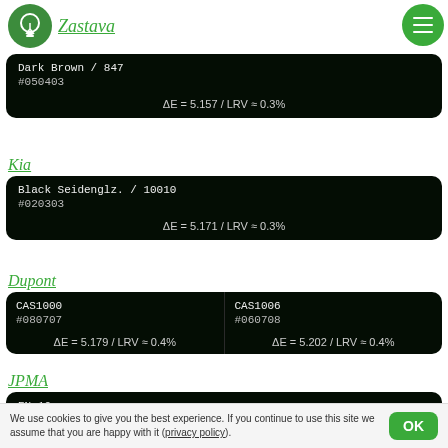Zastava
Dark Brown / 847
#050403
ΔE = 5.157 / LRV ≈ 0.3%
Kia
Black Seidenglz. / 10010
#020303
ΔE = 5.171 / LRV ≈ 0.3%
Dupont
| CAS1000 | CAS1006 |
| --- | --- |
| #080707 | #060708 |
| ΔE = 5.179 / LRV ≈ 0.4% | ΔE = 5.202 / LRV ≈ 0.4% |
JPMA
EN-10
We use cookies to give you the best experience. If you continue to use this site we assume that you are happy with it (privacy policy).